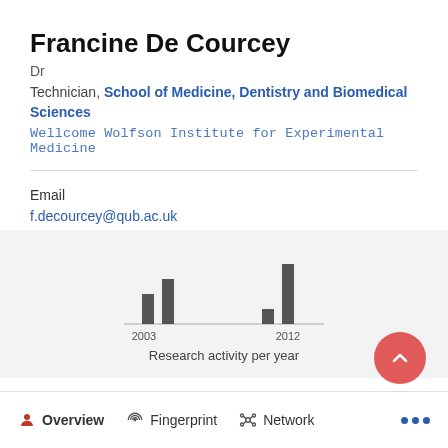Francine De Courcey
Dr
Technician, School of Medicine, Dentistry and Biomedical Sciences
Wellcome Wolfson Institute for Experimental Medicine
Email
f.decourcey@qub.ac.uk
[Figure (bar-chart): Research activity per year]
Research activity per year
Overview   Fingerprint   Network   ...